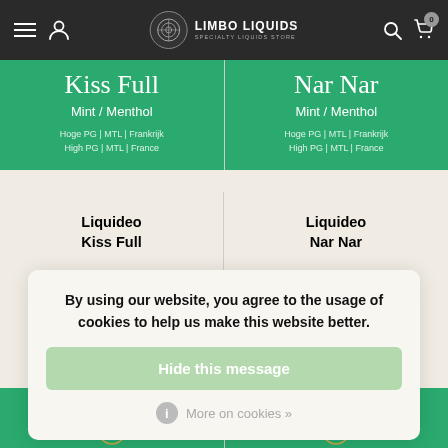Limbo Liquids – Specialty Liquids Store
[Figure (screenshot): Green product card for Liquideo Kiss Full – Mint/Menthol flavor, High PG | MTL | France]
[Figure (screenshot): Green product card for Liquideo Nar Nar – Mint/Menthol flavor, High PG | MTL | France]
Liquideo
Kiss Full
Liquideo
Nar Nar
By using our website, you agree to the usage of cookies to help us make this website better.
Hide this message
More on cookies »